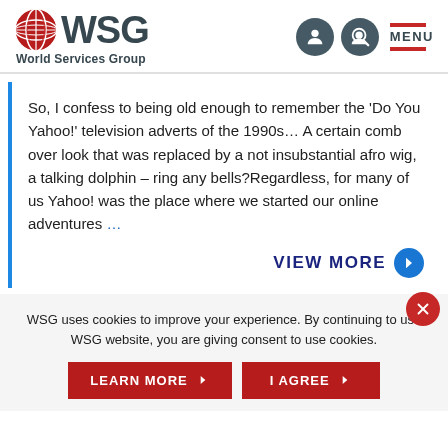WSG World Services Group
So, I confess to being old enough to remember the 'Do You Yahoo!' television adverts of the 1990s… A certain comb over look that was replaced by a not insubstantial afro wig, a talking dolphin – ring any bells?Regardless, for many of us Yahoo! was the place where we started our online adventures …
VIEW MORE
WSG uses cookies to improve your experience. By continuing to use WSG website, you are giving consent to use cookies.
LEARN MORE
I AGREE